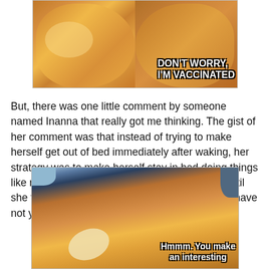[Figure (photo): Cat meme image showing two cats side by side. Left cat appears happy/smiling, right cat appears grumpy. Text overlay reads: DON'T WORRY, I'M VACCINATED]
But, there was one little comment by someone named Inanna that really got me thinking. The gist of her comment was that instead of trying to make herself get out of bed immediately after waking, her strategy was to make herself stay in bed doing things like reading and drinking tea for an hour or so until she felt fully awake. Now... THAT is something I have not yet tried.
[Figure (photo): Cat meme image showing a sleepy orange tabby cat with eyes half closed, with text overlay reading: Hmmm. You make an interesting (point/argument - cut off)]